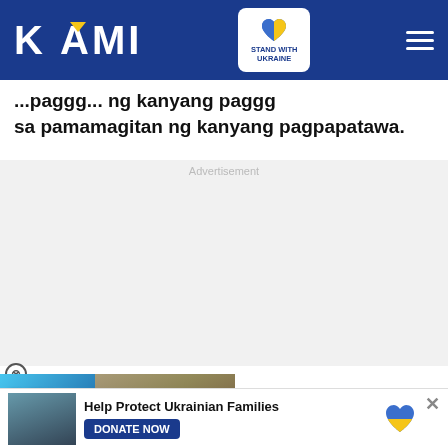KAMI — Stand With Ukraine
...paggg... sa pamamagitan ng kanyang pagpapatawa.
Advertisement
[Figure (other): Video ad thumbnail with two people and text THEY DIVORCED TWICE with a play button]
[Figure (other): Help Protect Ukrainian Families — DONATE NOW banner with Ukraine heart icon]